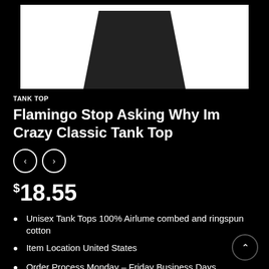[Figure (photo): Black tank top product photo on white background]
TANK TOP
Flamingo Stop Asking Why Im Crazy Classic Tank Top
$18.55
Unisex Tank Tops 100% Airlume combed and ringspun cotton
Item Location United States
Order Process Monday – Friday Business Days
Ships To United States And Worldwide